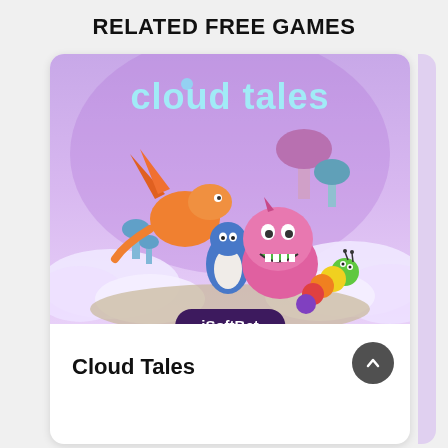RELATED FREE GAMES
[Figure (screenshot): Cloud Tales slot game promotional image showing cartoon fantasy creatures including an orange dragon, blue penguin-like creature, pink monster with sharp teeth, a rainbow caterpillar, and colorful mushrooms on a cloud landscape with the 'cloud tales' logo at the top]
iSoftBet
Cloud Tales